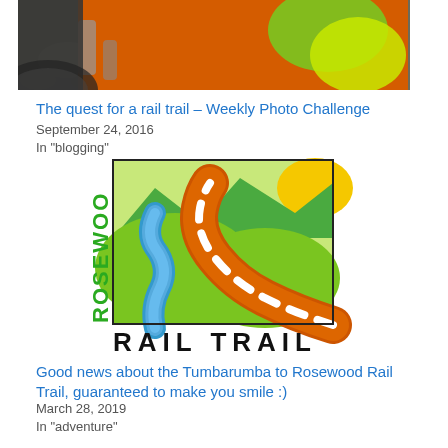[Figure (photo): Close-up photo of an orange reflective trail marker with green and yellow markings on it, lying on rocky ground]
The quest for a rail trail – Weekly Photo Challenge
September 24, 2016
In "blogging"
[Figure (logo): Rosewood Rail Trail logo featuring a stylized landscape with green hills, a winding blue river, an orange rail trail path with white dashes, and the text ROSEWOO on the left side and RAIL TRAIL at the bottom]
Good news about the Tumbarumba to Rosewood Rail Trail, guaranteed to make you smile :)
March 28, 2019
In "adventure"